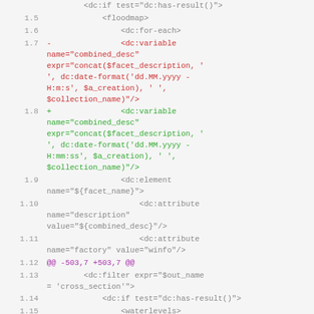[Figure (screenshot): Code diff view showing XML/template code with line numbers. Lines show additions (green, +) and deletions (red, -) of dc:variable elements with date format changes from 'H:m:s' to 'H:mm:ss', plus surrounding context lines with dc:element, dc:attribute, dc:filter, dc:if, dc:group elements. Purple line shows diff hunk header @@ -503,7 +503,7 @@.]